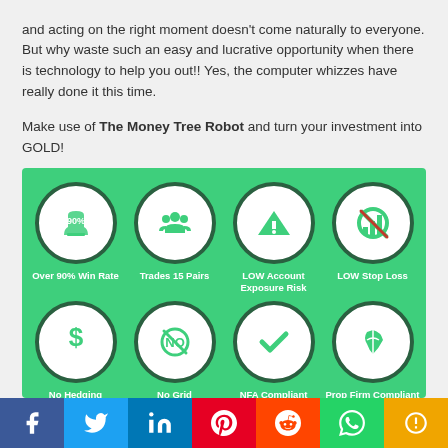and acting on the right moment doesn't come naturally to everyone. But why waste such an easy and lucrative opportunity when there is technology to help you out!! Yes, the computer whizzes have really done it this time.
Make use of The Money Tree Robot and turn your investment into GOLD!
[Figure (infographic): Green infographic panel with 8 circular icons in a 4x2 grid showing features: Over 90% Win Rate (trophy with 90%), Trades 15 Pairs (group of people), LOW Account Exposure Risk (warning triangle), LOW Stop Loss (bar chart with X), No Hedging (dollar sign), No Grid (NO symbol), NFA Compliant (checkmark), Prop Firm Compliant (leaf/flag icon)]
Facebook | Twitter | LinkedIn | Pinterest | Reddit | WhatsApp | More